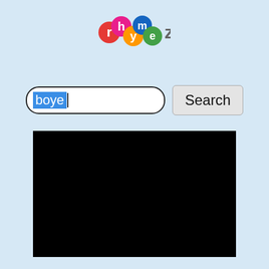[Figure (logo): RhymeZone logo with colorful letter bubbles and 'zone' text]
[Figure (screenshot): Search interface with text input showing 'boye' highlighted in blue and a Search button]
[Figure (other): Large black rectangle area below the search bar, likely an advertisement or video embed area]